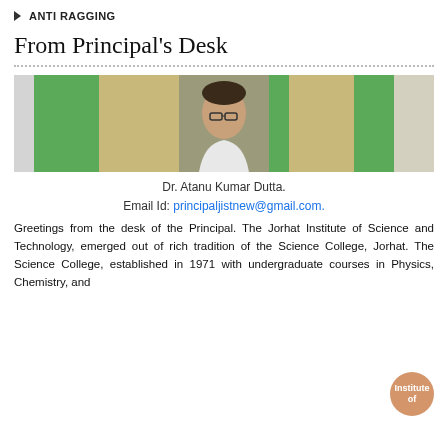ANTI RAGGING
From Principal's Desk
[Figure (photo): Photo of Dr. Atanu Kumar Dutta, principal, shown behind a desk with green and patterned curtains in background]
Dr. Atanu Kumar Dutta.
Email Id: principaljistnew@gmail.com.
Greetings from the desk of the Principal. The Jorhat Institute of Science and Technology, emerged out of rich tradition of the Science College, Jorhat. The Science College, established in 1971 with undergraduate courses in Physics, Chemistry, and